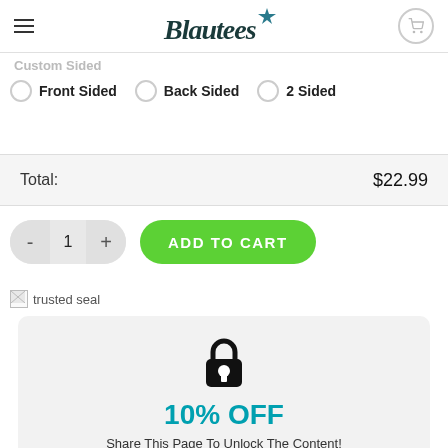Blautees
Custom Sided
Front Sided
Back Sided
2 Sided
| Total: | $22.99 |
| --- | --- |
- 1 + ADD TO CART
[Figure (illustration): trusted seal broken image icon with alt text 'trusted seal']
10% OFF
Share This Page To Unlock The Content!